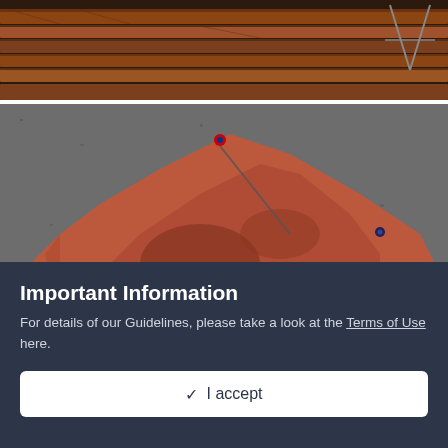[Figure (photo): Stacked red/brown lumber or timber planks outdoors, with dark background and a sawhorse visible]
[Figure (photo): Large animal hide (reddish-brown) laid flat on a grey asphalt surface, stretched out with stakes or pins, with a blue cloth visible at the left edge]
Important Information
For details of our Guidelines, please take a look at the Terms of Use here.
✓  I accept